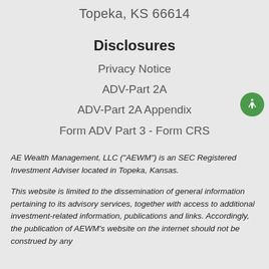Topeka, KS 66614
Disclosures
Privacy Notice
ADV-Part 2A
ADV-Part 2A Appendix
Form ADV Part 3 - Form CRS
AE Wealth Management, LLC (“AEWM”) is an SEC Registered Investment Adviser located in Topeka, Kansas.
This website is limited to the dissemination of general information pertaining to its advisory services, together with access to additional investment-related information, publications and links. Accordingly, the publication of AEWM’s website on the internet should not be construed by any